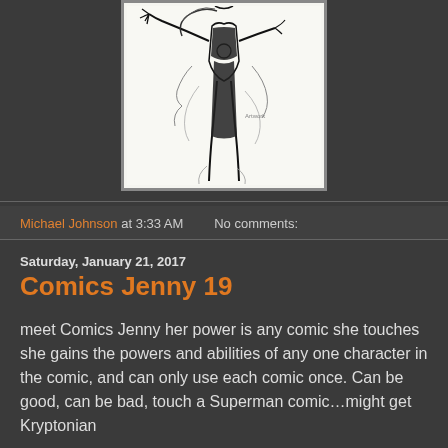[Figure (illustration): Black and white comic book style sketch of a female superhero character flying or floating, wearing a black costume, with flowing hair and energy effects around her. The figure is shown from a dynamic upward angle.]
Michael Johnson at 3:33 AM   No comments:
Saturday, January 21, 2017
Comics Jenny 19
meet Comics Jenny her power is any comic she touches she gains the powers and abilities of any one character in the comic, and can only use each comic once. Can be good, can be bad, touch a Superman comic...might get Kryptonian